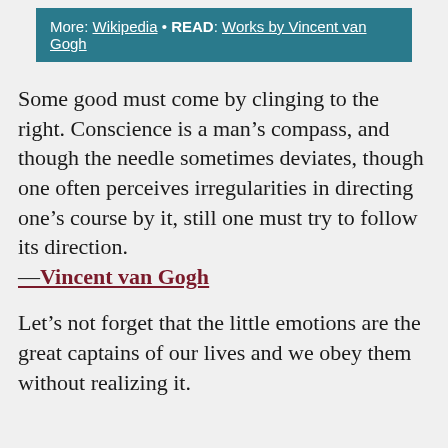More: Wikipedia • READ: Works by Vincent van Gogh
Some good must come by clinging to the right. Conscience is a man’s compass, and though the needle sometimes deviates, though one often perceives irregularities in directing one’s course by it, still one must try to follow its direction. —Vincent van Gogh
Let’s not forget that the little emotions are the great captains of our lives and we obey them without realizing it.